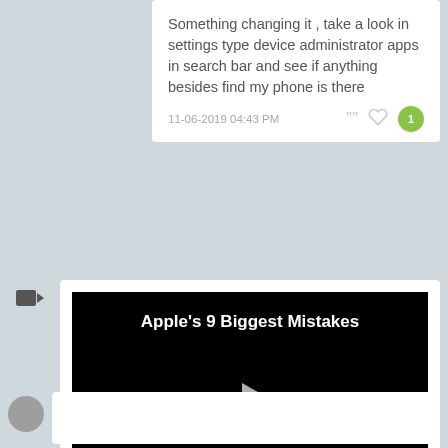Something changing it , take a look in settings type device administrator apps in search bar and see if anything besides find my phone is there
11-06-2019 04:43 PM
[Figure (other): Video embed showing title 'Apple's 9 Biggest Mistakes' with a play button on a black background]